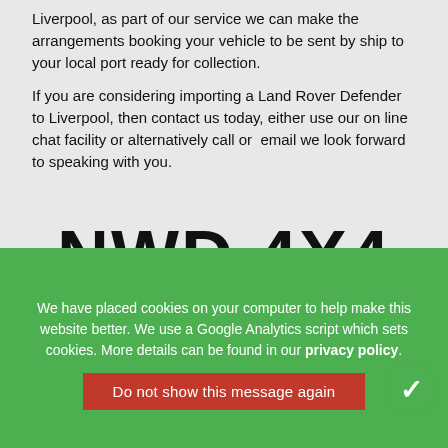Liverpool, as part of our service we can make the arrangements booking your vehicle to be sent by ship to your local port ready for collection.
If you are considering importing a Land Rover Defender to Liverpool, then contact us today, either use our on line chat facility or alternatively call or email we look forward to speaking with you.
[Figure (logo): NWD 4X4 logo in large bold black text]
IRWELL HOUSE, TAYLOR HOLME INDUSTRIAL ESTATE , ATHERTON WAY , STACKSTEADS, ROSSENDALE, LANCASHIRE, OL13 0LE
01706 534856 • 07565 137183 • EMAIL US • SITE DESIGN •
LAND ROVER DEFENDER SPECIALIST IN MANCHESTER
LAND ROVER DEFENDER SPECIALIST IN LIVERPOOL
We have placed cookies on your computer to help make this website better. We use a Google Analytics script which sets cookies. More details can be found in our privacy policy.
Do not show this message again